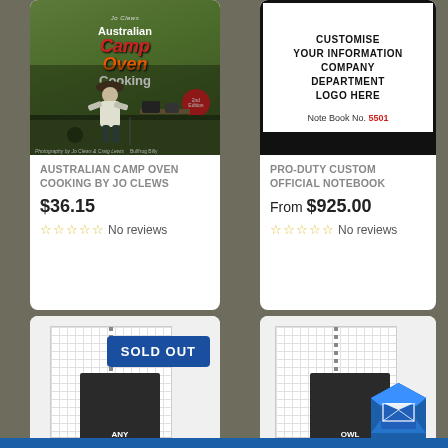[Figure (photo): Book cover: Australian Camp Oven Cooking by Jo Clews, 2nd edition, showing a woman cooking outdoors]
AUSTRALIAN CAMP OVEN COOKING BY JO CLEWS
$36.15
No reviews
[Figure (photo): Custom official notebook cover showing: CUSTOMISE YOUR INFORMATION COMPANY DEPARTMENT LOGO HERE, Note Book No. 5501]
PRO-DUTY CUSTOM OFFICIAL NOTEBOOK
From $925.00
No reviews
[Figure (photo): Spiral notebook with grid pages, dark cover, with SOLD OUT badge]
[Figure (photo): Spiral notebook with grid pages, dark cover, with email icon overlay]